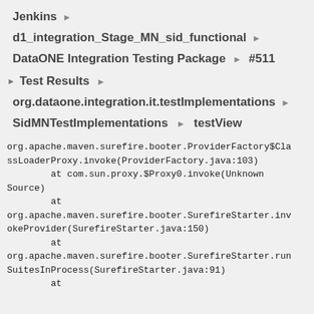Jenkins ▶
d1_integration_Stage_MN_sid_functional ▶
DataONE Integration Testing Package ▶ #511
▶ Test Results ▶
org.dataone.integration.it.testImplementations ▶
SidMNTestImplementations ▶ testView
org.apache.maven.surefire.booter.ProviderFactory$ClassLoaderProxy.invoke(ProviderFactory.java:103)
        at com.sun.proxy.$Proxy0.invoke(Unknown Source)
        at
org.apache.maven.surefire.booter.SurefireStarter.invokeProvider(SurefireStarter.java:150)
        at
org.apache.maven.surefire.booter.SurefireStarter.runSuitesInProcess(SurefireStarter.java:91)
        at